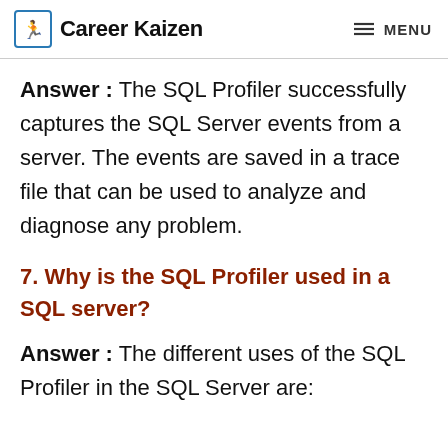Career Kaizen  ≡ MENU
Answer : The SQL Profiler successfully captures the SQL Server events from a server. The events are saved in a trace file that can be used to analyze and diagnose any problem.
7. Why is the SQL Profiler used in a SQL server?
Answer : The different uses of the SQL Profiler in the SQL Server are: